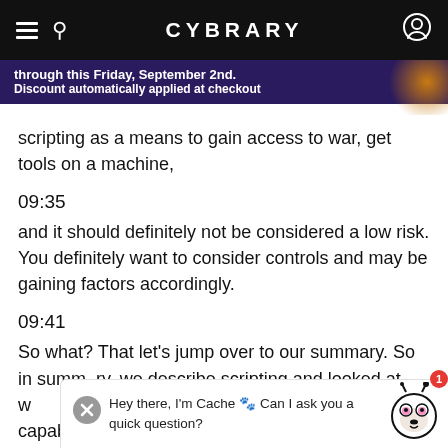CYBRARY
through this Friday, September 2nd. Discount automatically applied at checkout
scripting as a means to gain access to war, get tools on a machine,
09:35
and it should definitely not be considered a low risk. You definitely want to consider controls and may be gaining factors accordingly.
09:41
So what? That let's jump over to our summary. So in summary, we describe scripting and looked at w... it be used. W... techniques and their capabilities there, as well
Hey there, I'm Cache 🐾 Can I ask you a quick question?